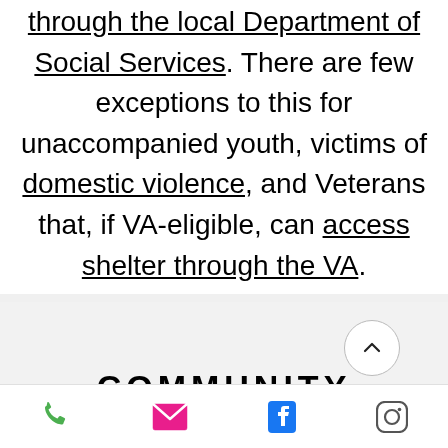through the local Department of Social Services. There are few exceptions to this for unaccompanied youth, victims of domestic violence, and Veterans that, if VA-eligible, can access shelter through the VA.
[Figure (other): Scroll-to-top button (circle with upward chevron arrow) and partial 'COMMUNITY RESOURCES' heading below a gray divider section, with a bottom navigation bar containing phone, email, Facebook, and Instagram icons.]